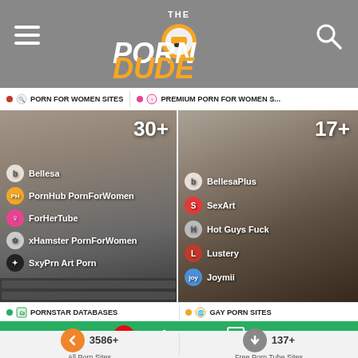THE PORN DUDE - navigation header with hamburger menu and search icon
PORN FOR WOMEN SITES
PREMIUM PORN FOR WOMEN S...
[Figure (screenshot): Card showing Porn For Women Sites with 30+ count and listed sites: Bellesa, PornHub PornForWomen, ForHerTube, xHamster PornForWomen, SxyPrn Art Porn]
[Figure (screenshot): Card showing Premium Porn For Women Sites with 17+ count and listed sites: BellesaPlus, SexArt, Hot Guys Fuck, Lustery, Joymii]
PORNSTAR DATABASES
GAY PORN SITES
netfapx.com
3586+  All Porn Sites
137+  Free Porn Tube Sites